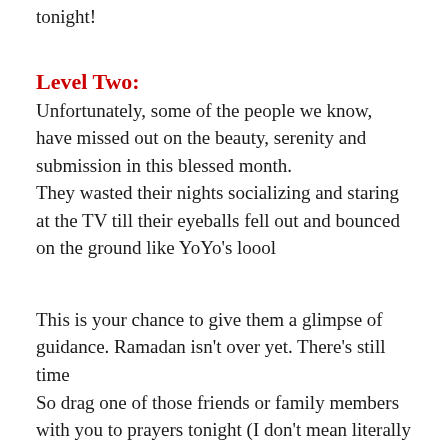tonight!
Level Two:
Unfortunately, some of the people we know, have missed out on the beauty, serenity and submission in this blessed month.
They wasted their nights socializing and staring at the TV till their eyeballs fell out and bounced on the ground like YoYo's loool
This is your chance to give them a glimpse of guidance. Ramadan isn't over yet. There's still time
So drag one of those friends or family members with you to prayers tonight (I don't mean literally drag them but if they refuse, twist and bring them along)